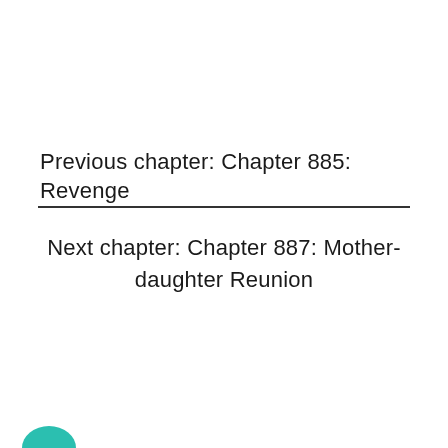Previous chapter: Chapter 885: Revenge
Next chapter: Chapter 887: Mother-daughter Reunion
[Figure (illustration): Partial teal/green chat bubble icon visible at bottom-left corner of page]